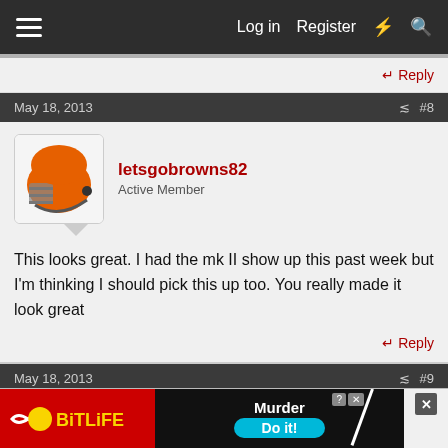Log in  Register
Reply
May 18, 2013  #8
letsgobrowns82
Active Member
This looks great. I had the mk II show up this past week but I'm thinking I should pick this up too. You really made it look great
Reply
May 18, 2013  #9
ModelMakerMike
[Figure (screenshot): BitLife advertisement banner - Murder Do it!]